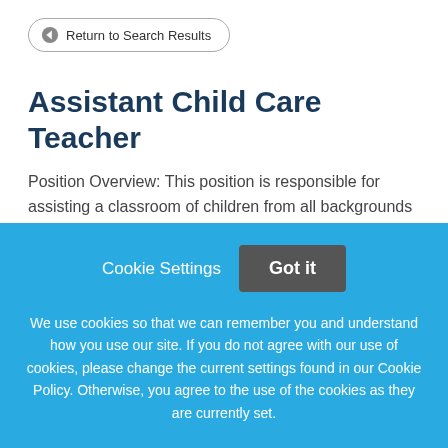[Figure (other): Back button with left arrow icon labeled 'Return to Search Results']
Assistant Child Care Teacher
Position Overview: This position is responsible for assisting a classroom of children from all backgrounds and identities in accordance with the policies and philosophy of CDLS and the Institute of Child
Cookie Settings   Got it
We use cookies so that we can remember you and understand how you use our site. If you do not agree with our use of cookies, please change the current settings found in our Cookie Policy. Otherwise, you agree to the use of the cookies as they are currently set.